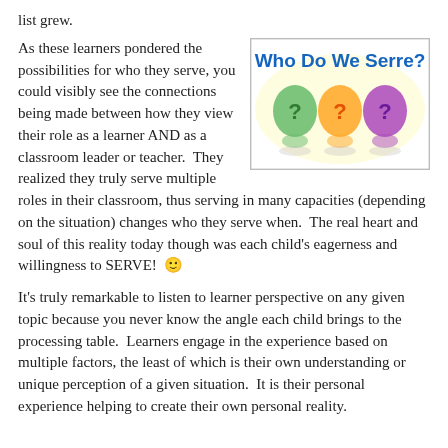list grew.
As these learners pondered the possibilities for who they serve, you could visibly see the connections being made between how they view their role as a learner AND as a classroom leader or teacher.  They realized they truly serve multiple roles in their classroom, thus serving in many capacities (depending on the situation) changes who they serve when.  The real heart and soul of this reality today though was each child's eagerness and willingness to SERVE!  🙂
[Figure (illustration): Colorful graphic with text 'Who Do We Serre?' in blue, featuring three cartoon figures with question mark heads in green, orange, and purple on a yellow background.]
It's truly remarkable to listen to learner perspective on any given topic because you never know the angle each child brings to the processing table.  Learners engage in the experience based on multiple factors, the least of which is their own understanding or unique perception of a given situation.  It is their personal experience helping to create their own personal reality.